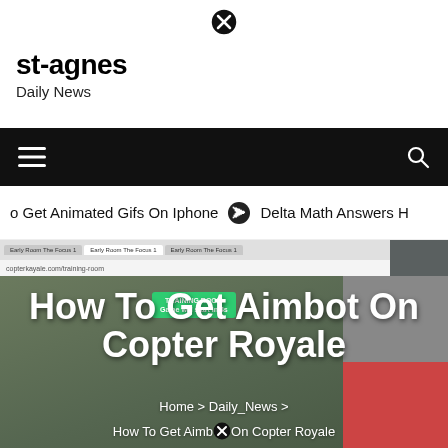[Figure (screenshot): Close button (circled X) icon at top center of page]
st-agnes
Daily News
[Figure (screenshot): Black navigation bar with hamburger menu icon on left and search icon on right]
o Get Animated Gifs On Iphone   ⊙ Delta Math Answers H
[Figure (screenshot): Hero image showing a browser screenshot of a game map (Copter Royale) with a Training Room popup, overlaid with the article title text and breadcrumb navigation. Side panels show additional content on the right.]
How To Get Aimbot On Copter Royale
Home > Daily_News > How To Get Aimbot On Copter Royale